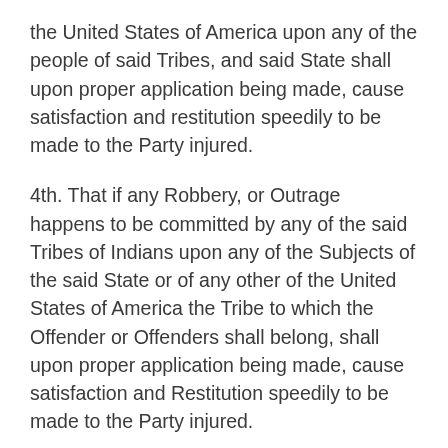the United States of America upon any of the people of said Tribes, and said State shall upon proper application being made, cause satisfaction and restitution speedily to be made to the Party injured.
4th. That if any Robbery, or Outrage happens to be committed by any of the said Tribes of Indians upon any of the Subjects of the said State or of any other of the United States of America the Tribe to which the Offender or Offenders shall belong, shall upon proper application being made, cause satisfaction and Restitution speedily to be made to the Party injured.
5th. That in case any Misunderstanding, Controversy shall happen between the said